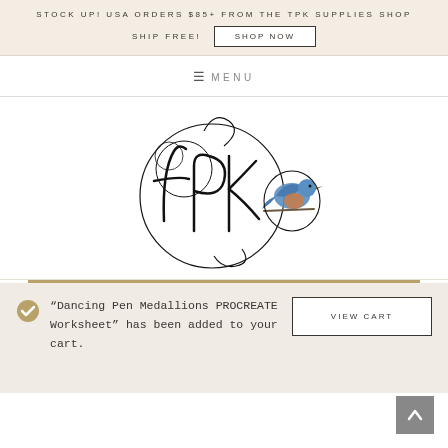STOCK UP! USA ORDERS $85+ FROM THE TPK SUPPLIES SHOP SHIP FREE! SHOP NOW
≡ MENU
[Figure (logo): TPK brand logo with decorative calligraphic tpk letters and a watercolor bluebird perched on a circular flourish]
"Dancing Pen Medallions PROCREATE Worksheet" has been added to your cart.
VIEW CART